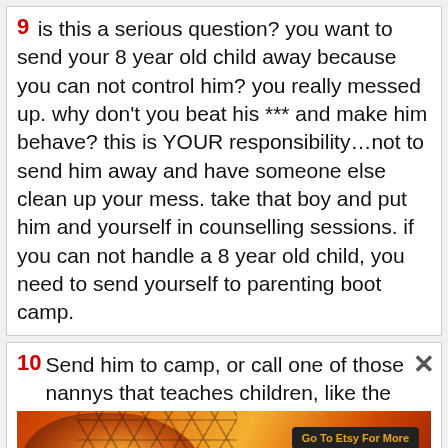9 is this a serious question? you want to send your 8 year old child away because you can not control him? you really messed up. why don’t you beat his *** and make him behave? this is YOUR responsibility…not to send him away and have someone else clean up your mess. take that boy and put him and yourself in counselling sessions. if you can not handle a 8 year old child, you need to send yourself to parenting boot camp.
10 Send him to camp, or call one of those nannys that teaches children, like the
[Figure (illustration): Advertisement banner for Jurga Creations on Etsy, featuring a colorful painting of a stylized face with honeycomb patterns in warm orange, red and yellow tones. Has a 'Go To Etsy For More' button and Jurga Creations logo.]